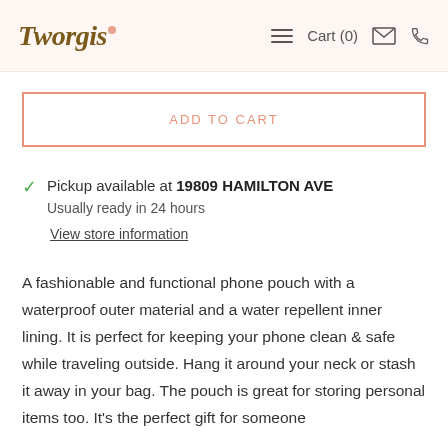Tworgis — Cart (0)
ADD TO CART
Pickup available at 19809 HAMILTON AVE
Usually ready in 24 hours
View store information
A fashionable and functional phone pouch with a waterproof outer material and a water repellent inner lining. It is perfect for keeping your phone clean & safe while traveling outside. Hang it around your neck or stash it away in your bag. The pouch is great for storing personal items too. It's the perfect gift for someone